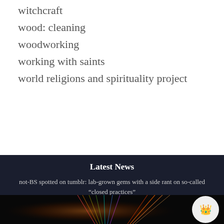witchcraft
wood: cleaning
woodworking
working with saints
world religions and spirituality project
Latest News
not-BS spotted on tumblr: lab-grown gems with a side rant on so-called “closed practices”
[Figure (photo): Dark photograph showing colorful light rays or prism effects against a black background, with a circular crown logo badge in the lower right corner]